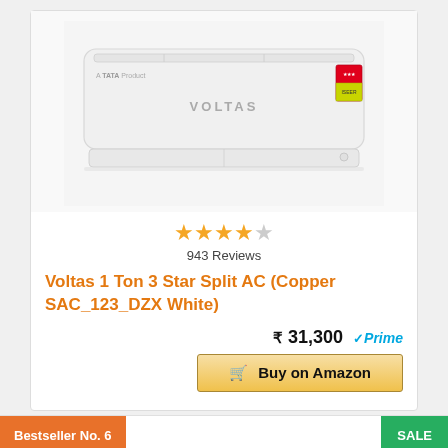[Figure (photo): Voltas split air conditioner unit, white, wall-mounted, with TATA product label and energy star rating sticker]
★★★★☆ 943 Reviews
Voltas 1 Ton 3 Star Split AC (Copper SAC_123_DZX White)
₹ 31,300 ✓Prime
🛒 Buy on Amazon
Bestseller No. 6
SALE